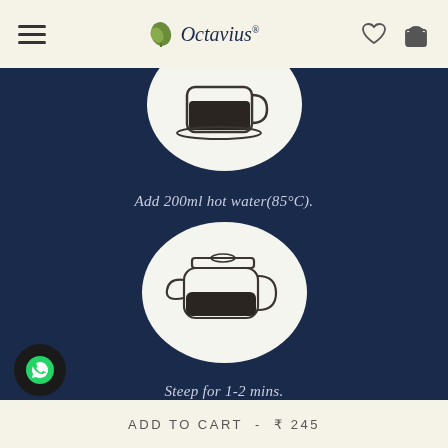Octavius
[Figure (illustration): White circle on dark navy background with an icon of a glass tea cup filled with dark liquid]
Add 200ml hot water(85°C).
[Figure (illustration): White circle on dark navy background with an icon of a teapot filled with dark liquid]
Steep for 1-2 mins.
ADD TO CART  -  ₹ 245